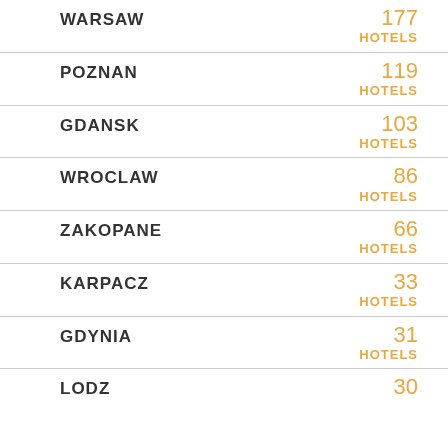WARSAW — 177 HOTELS
POZNAN — 119 HOTELS
GDANSK — 103 HOTELS
WROCLAW — 86 HOTELS
ZAKOPANE — 66 HOTELS
KARPACZ — 33 HOTELS
GDYNIA — 31 HOTELS
LODZ — 30 HOTELS